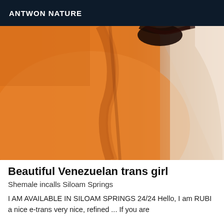ANTWON NATURE
[Figure (photo): Close-up photo showing a person's midsection and lower torso, with warm orange/amber tones on the left side and lighter skin tones on the right side, with dark hair visible at the top center.]
Beautiful Venezuelan trans girl
Shemale incalls Siloam Springs
I AM AVAILABLE IN SILOAM SPRINGS 24/24 Hello, I am RUBI a nice e-trans very nice, refined ... If you are